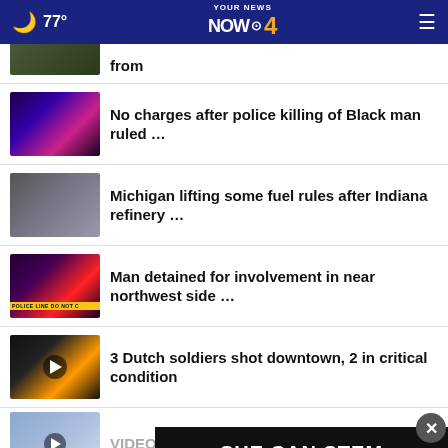77° YOUR NEWS NOW CBS 4
…from
No charges after police killing of Black man ruled …
Michigan lifting some fuel rules after Indiana refinery …
Man detained for involvement in near northwest side …
3 Dutch soldiers shot downtown, 2 in critical condition
VIDEOS: 3 injured in reported …
[Figure (infographic): SHE CAN STEM advertisement banner with X close button]
Veterans, community members now …